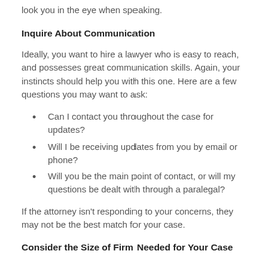look you in the eye when speaking.
Inquire About Communication
Ideally, you want to hire a lawyer who is easy to reach, and possesses great communication skills. Again, your instincts should help you with this one. Here are a few questions you may want to ask:
Can I contact you throughout the case for updates?
Will I be receiving updates from you by email or phone?
Will you be the main point of contact, or will my questions be dealt with through a paralegal?
If the attorney isn't responding to your concerns, they may not be the best match for your case.
Consider the Size of Firm Needed for Your Case